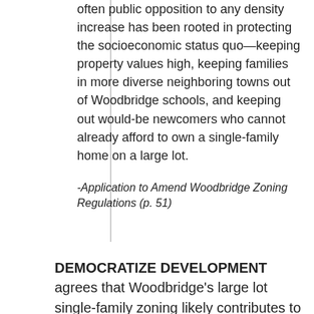often public opposition to any density increase has been rooted in protecting the socioeconomic status quo—keeping property values high, keeping families in more diverse neighboring towns out of Woodbridge schools, and keeping out would-be newcomers who cannot already afford to own a single-family home on a large lot.
-Application to Amend Woodbridge Zoning Regulations (p. 51)
DEMOCRATIZE DEVELOPMENT agrees that Woodbridge's large lot single-family zoning likely contributes to a lack of opportunities for low- and moderate-income families to move into town. This